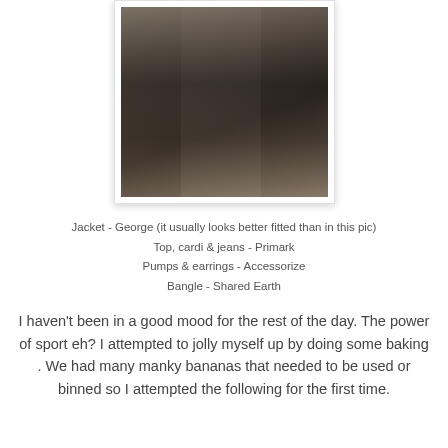[Figure (photo): Person wearing dark jeans, grey top and flat shoes, standing in front of a white door on a carpeted floor. The photo is framed with a white border and light shadow.]
Jacket - George (it usually looks better fitted than in this pic)
Top, cardi & jeans - Primark
Pumps & earrings - Accessorize
Bangle - Shared Earth
I haven't been in a good mood for the rest of the day. The power of sport eh? I attempted to jolly myself up by doing some baking . We had many manky bananas that needed to be used or binned so I attempted the following for the first time.